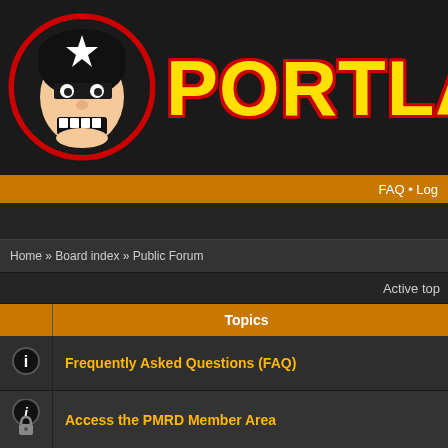[Figure (logo): Portland Men's (PMRD) forum logo with cartoon character wearing black helmet with star, and large yellow text PORTLAND MEN on dark background]
FAQ • Log
Home » Board index » Public Forum
Active top
| Topics |
| --- |
| Frequently Asked Questions (FAQ) |
| Access the PMRD Member Area |
| http://judykeim.com/ ujcjtu |
| I know a Guy... |
| Photos from 2013-06-29 bouts |
| photos from RCR scrimmage 2013-06-12 |